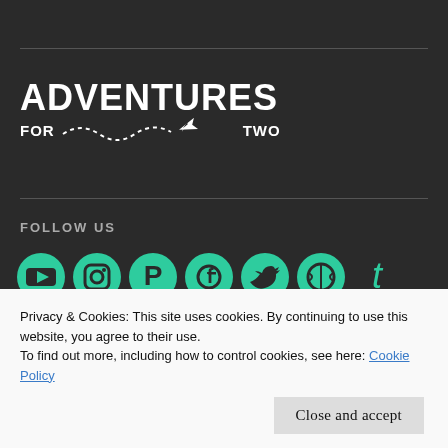[Figure (logo): Adventures For Two logo — white bold text ADVENTURES on top, FOR with wavy dashed path and airplane icon and TWO below, on dark background]
FOLLOW US
[Figure (illustration): Row of teal social media icons: YouTube, Instagram, Pinterest, Facebook, Twitter, WordPress, Tumblr]
Privacy & Cookies: This site uses cookies. By continuing to use this website, you agree to their use.
To find out more, including how to control cookies, see here: Cookie Policy
Close and accept